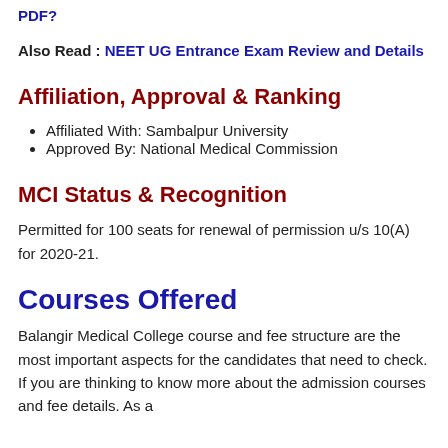PDF?
Also Read : NEET UG Entrance Exam Review and Details
Affiliation, Approval & Ranking
Affiliated With: Sambalpur University
Approved By: National Medical Commission
MCI Status & Recognition
Permitted for 100 seats for renewal of permission u/s 10(A) for 2020-21.
Courses Offered
Balangir Medical College course and fee structure are the most important aspects for the candidates that need to check. If you are thinking to know more about the admission courses and fee details. As a